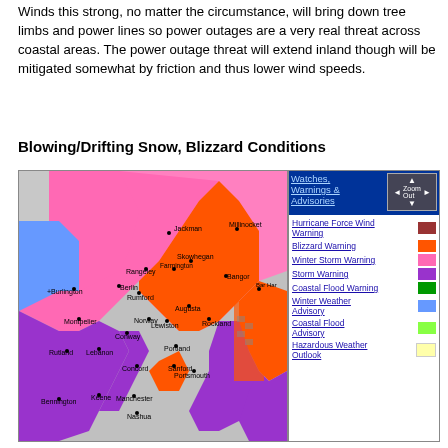Winds this strong, no matter the circumstance, will bring down tree limbs and power lines so power outages are a very real threat across coastal areas. The power outage threat will extend inland though will be mitigated somewhat by friction and thus lower wind speeds.
Blowing/Drifting Snow, Blizzard Conditions
[Figure (map): NWS weather map of New England showing watches, warnings and advisories including Hurricane Force Wind Warning (brown), Blizzard Warning (orange), Winter Storm Warning (pink), Storm Warning (purple), Coastal Flood Warning (green), Winter Weather Advisory (blue), Coastal Flood Advisory (light green), and Hazardous Weather Outlook (yellow). Cities labeled include Jackman, Millinocket, Rangeley, Skowhegan, Farmington, Bangor, Berlin, Rumford, Augusta, Bar Harbor, Burlington, Norway, Lewiston, Rockland, Montpelier, Conway, Portland, Rutland, Lebanon, Concord, Sanford, Portsmouth, Bennington, Keene, Manchester, Nashua.]